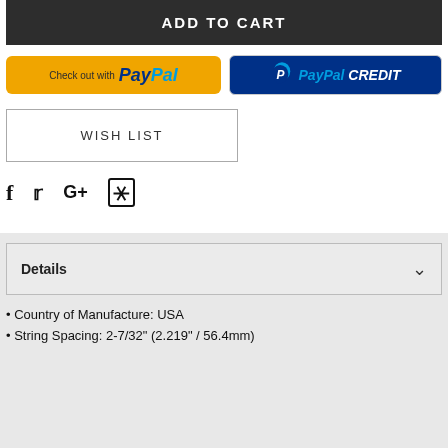ADD TO CART
[Figure (logo): PayPal checkout button (yellow) and PayPal CREDIT button (blue)]
WISH LIST
[Figure (infographic): Social media icons: Facebook, Twitter, Google+, Pinterest]
Details
Country of Manufacture: USA
String Spacing: 2-7/32" (2.219" / 56.4mm)